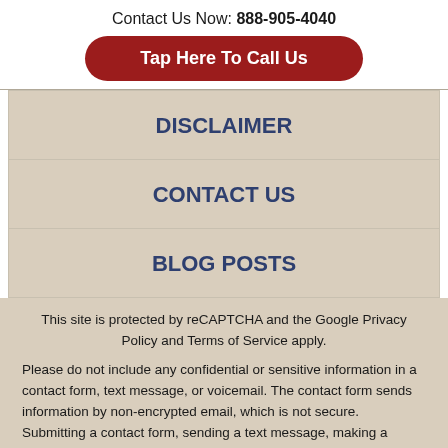Contact Us Now: 888-905-4040
Tap Here To Call Us
DISCLAIMER
CONTACT US
BLOG POSTS
This site is protected by reCAPTCHA and the Google Privacy Policy and Terms of Service apply.
Please do not include any confidential or sensitive information in a contact form, text message, or voicemail. The contact form sends information by non-encrypted email, which is not secure. Submitting a contact form, sending a text message, making a